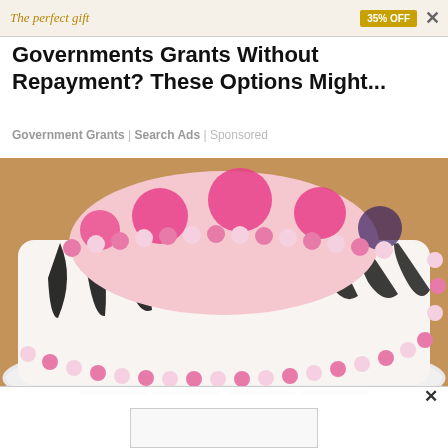[Figure (screenshot): Top advertisement banner with text 'The perfect gift', '35% OFF' badge, and close X button]
Governments Grants Without Repayment? These Options Might...
Government Grants | Search Ads | Sponsored
[Figure (photo): A two-tier decorated cake with zebra stripe pattern on bottom tier and pink polka dots on top tier, with pink and white candy ball borders, on a white scalloped cake board]
[Figure (screenshot): Bottom close bar with X button and a partially visible second advertisement rectangle below]